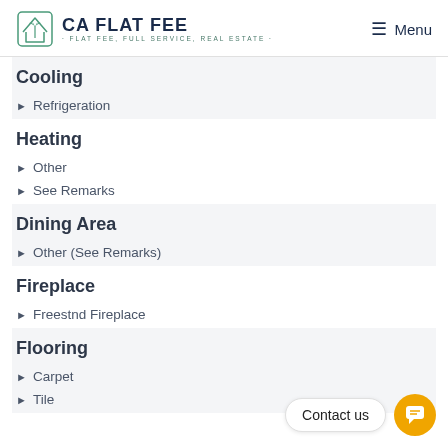CA FLAT FEE · FLAT FEE, FULL SERVICE, REAL ESTATE · Menu
Cooling
Refrigeration
Heating
Other
See Remarks
Dining Area
Other (See Remarks)
Fireplace
Freestnd Fireplace
Flooring
Carpet
Tile